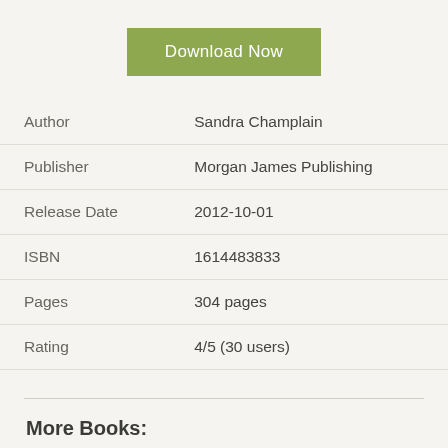[Figure (other): Green 'Download Now' button]
| Author | Sandra Champlain |
| Publisher | Morgan James Publishing |
| Release Date | 2012-10-01 |
| ISBN | 1614483833 |
| Pages | 304 pages |
| Rating | 4/5 (30 users) |
More Books: